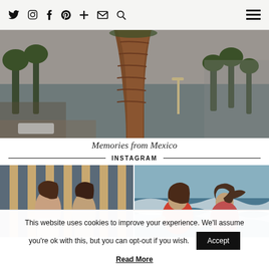Social media icon bar with Twitter, Instagram, Facebook, Pinterest, Plus, Email, Search icons and hamburger menu
[Figure (photo): Hero photo showing a large palm tree trunk in the foreground with ocean, palm trees, and overcast sky in the background — Mexico travel photo]
Memories from Mexico
INSTAGRAM
[Figure (photo): Instagram photo on left: two women sitting in front of a striped blue and wood-panel wall backdrop]
[Figure (photo): Instagram photo on right: two women in swimsuits seen from behind at the beach with ocean waves]
This website uses cookies to improve your experience. We'll assume you're ok with this, but you can opt-out if you wish.
Accept
Read More